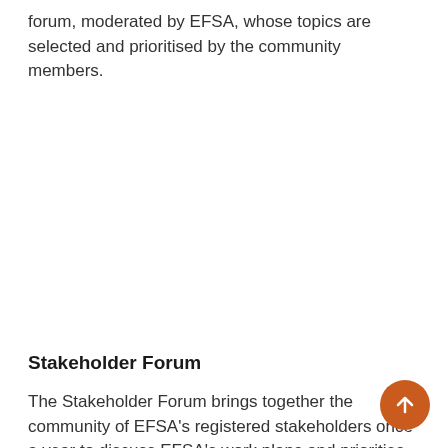forum, moderated by EFSA, whose topics are selected and prioritised by the community members.
Stakeholder Forum
The Stakeholder Forum brings together the community of EFSA's registered stakeholders once a year to discuss EFSA's work plans and priorities. The themes and topics of